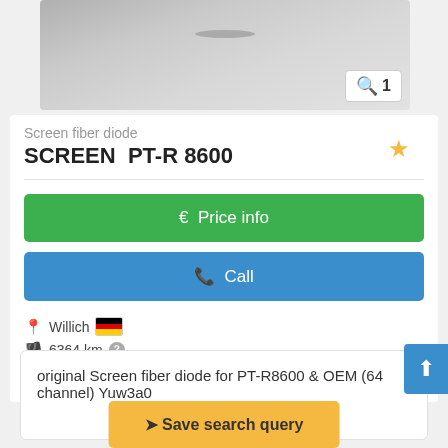[Figure (photo): Partial photo of a Screen fiber diode component, gray tones, with a zoom badge showing '1' in bottom right corner]
Screen fiber diode
SCREEN  PT-R 8600
[Figure (other): Green button: € Price info]
[Figure (other): Blue button: Call]
Willich 🇩🇪
6364 km ?
used
original Screen fiber diode for PT-R8600 & OEM (64 channel) Yuw3a0
[Figure (other): Orange button: Save search query]